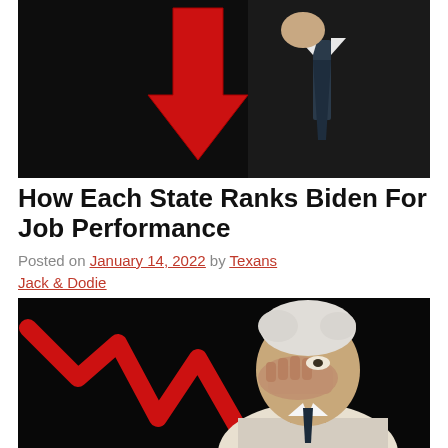[Figure (photo): Dark photo of a person in a suit with a large red downward arrow overlaid, suggesting declining performance]
How Each State Ranks Biden For Job Performance
Posted on January 14, 2022 by Texans Jack & Dodie
[Figure (photo): Elderly man with white hair holding his hand to his face in a gesture of concern or distress, with a red declining graph/arrow in background on dark background]